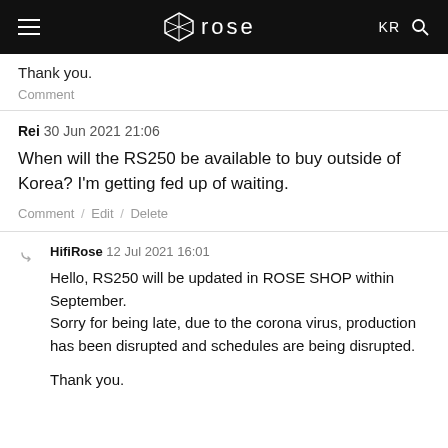rose (logo navigation bar with hamburger menu, KR, and search icon)
Thank you.
Comment
Rei 30 Jun 2021 21:06
When will the RS250 be available to buy outside of Korea? I'm getting fed up of waiting.
Comment / Edit / Delete
HifiRose 12 Jul 2021 16:01
Hello, RS250 will be updated in ROSE SHOP within September.
Sorry for being late, due to the corona virus, production has been disrupted and schedules are being disrupted.

Thank you.